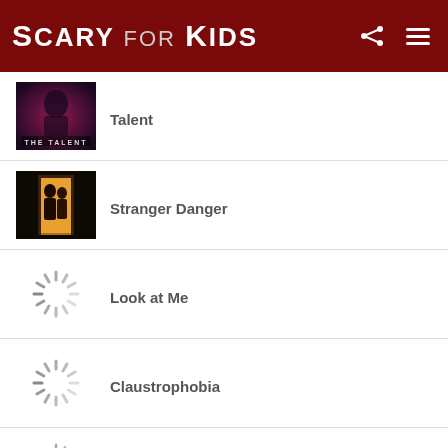Scary For Kids
Talent
Stranger Danger
Look at Me
Claustrophobia
Babysitter and the Bed